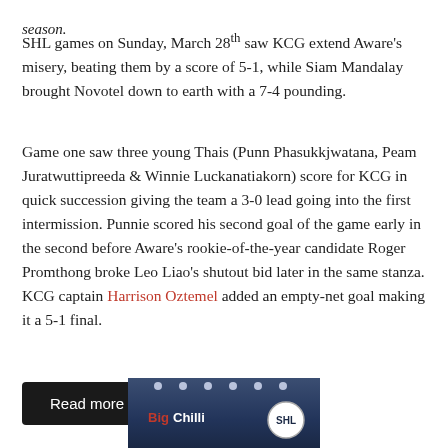season.
SHL games on Sunday, March 28th saw KCG extend Aware’s misery, beating them by a score of 5-1, while Siam Mandalay brought Novotel down to earth with a 7-4 pounding.
Game one saw three young Thais (Punn Phasukkjwatana, Peam Juratwuttipreeda & Winnie Luckanatiakorn) score for KCG in quick succession giving the team a 3-0 lead going into the first intermission. Punnie scored his second goal of the game early in the second before Aware’s rookie-of-the-year candidate Roger Promthong broke Leo Liao’s shutout bid later in the same stanza. KCG captain Harrison Oztemel added an empty-net goal making it a 5-1 final.
Read more
[Figure (photo): Photo showing a venue interior with spotlights on the ceiling, a Big Chilli logo on the left and an SHL circular logo on the right against a blue background.]